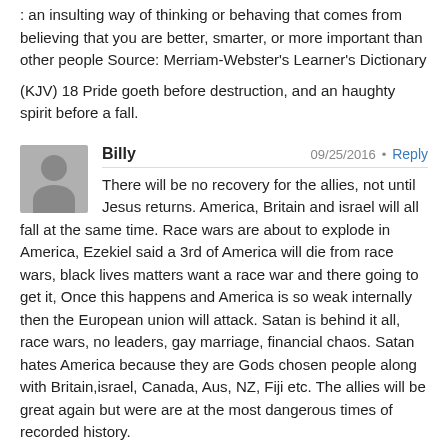: an insulting way of thinking or behaving that comes from believing that you are better, smarter, or more important than other people Source: Merriam-Webster's Learner's Dictionary
(KJV) 18 Pride goeth before destruction, and an haughty spirit before a fall.
Billy 09/25/2016 • Reply
There will be no recovery for the allies, not until Jesus returns. America, Britain and israel will all fall at the same time. Race wars are about to explode in America, Ezekiel said a 3rd of America will die from race wars, black lives matters want a race war and there going to get it, Once this happens and America is so weak internally then the European union will attack. Satan is behind it all, race wars, no leaders, gay marriage, financial chaos. Satan hates America because they are Gods chosen people along with Britain,israel, Canada, Aus, NZ, Fiji etc. The allies will be great again but were are at the most dangerous times of recorded history.